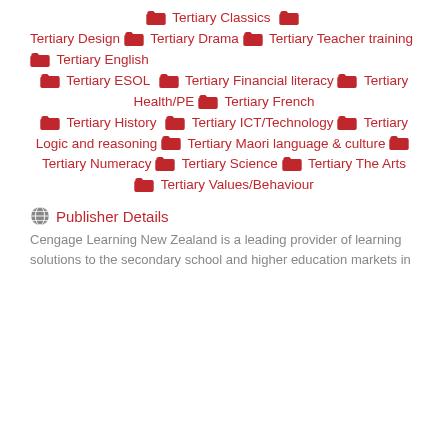Tertiary Classics
Tertiary Design
Tertiary Drama
Tertiary Teacher training
Tertiary English
Tertiary ESOL
Tertiary Financial literacy
Tertiary Health/PE
Tertiary French
Tertiary History
Tertiary ICT/Technology
Tertiary Logic and reasoning
Tertiary Maori language & culture
Tertiary Numeracy
Tertiary Science
Tertiary The Arts
Tertiary Values/Behaviour
Publisher Details
Cengage Learning New Zealand is a leading provider of learning solutions to the secondary school and higher education markets in